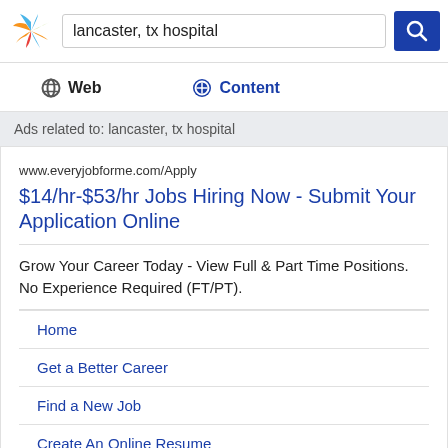[Figure (screenshot): Search interface with logo, search box containing 'lancaster, tx hospital', and blue search button]
Web
Content
Ads related to: lancaster, tx hospital
www.everyjobforme.com/Apply
$14/hr-$53/hr Jobs Hiring Now - Submit Your Application Online
Grow Your Career Today - View Full & Part Time Positions. No Experience Required (FT/PT).
Home
Get a Better Career
Find a New Job
Create An Online Resume